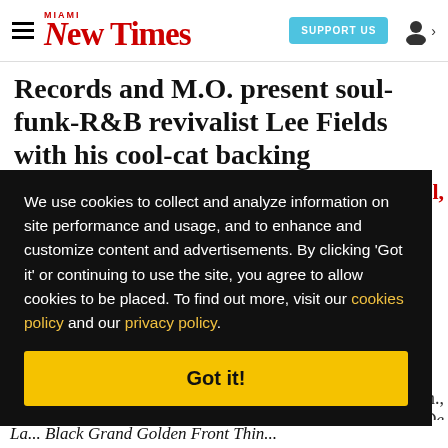Miami New Times — SUPPORT US — user icon
Records and M.O. present soul-funk-R&B revivalist Lee Fields with his cool-cat backing
We use cookies to collect and analyze information on site performance and usage, and to enhance and customize content and advertisements. By clicking 'Got it' or continuing to use the site, you agree to allow cookies to be placed. To find out more, visit our cookies policy and our privacy policy.
Got it!
oul,
n.,
e De
La... Black Grand Golden Front Thin...